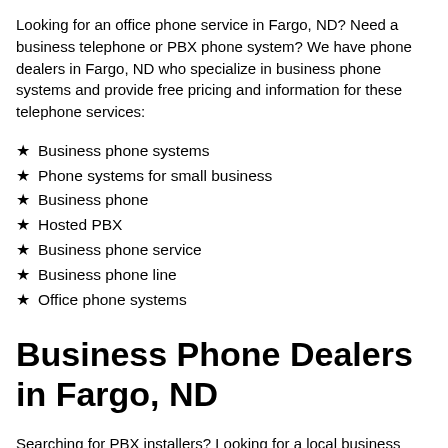Looking for an office phone service in Fargo, ND? Need a business telephone or PBX phone system? We have phone dealers in Fargo, ND who specialize in business phone systems and provide free pricing and information for these telephone services:
Business phone systems
Phone systems for small business
Business phone
Hosted PBX
Business phone service
Business phone line
Office phone systems
Business Phone Dealers in Fargo, ND
Searching for PBX installers? Looking for a local business phone provider in Fargo, ND? Here are a